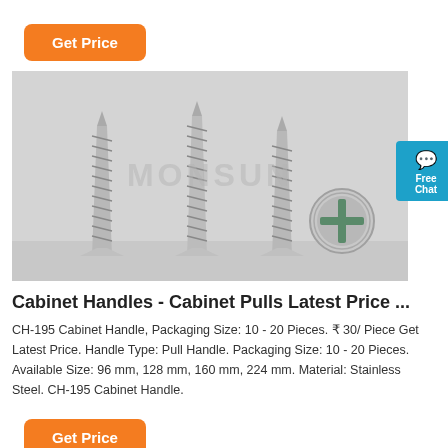Get Price
[Figure (photo): Product photo showing four silver self-tapping screws with Phillips head drive, three standing upright and one lying flat showing the cross-head, with a watermark 'MONSUN' across the image.]
Cabinet Handles - Cabinet Pulls Latest Price ...
CH-195 Cabinet Handle, Packaging Size: 10 - 20 Pieces. ₹ 30/ Piece Get Latest Price. Handle Type: Pull Handle. Packaging Size: 10 - 20 Pieces. Available Size: 96 mm, 128 mm, 160 mm, 224 mm. Material: Stainless Steel. CH-195 Cabinet Handle.
Get Price